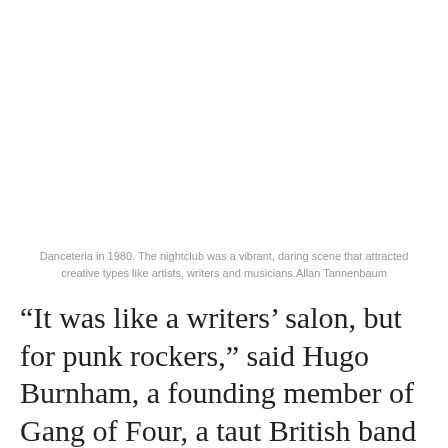[Figure (photo): Blank white space representing an image of Danceteria in 1980 (image not visible in this crop)]
Danceteria in 1980. The nightclub was a vibrant, daring scene that attracted creative types like artists, writers and musicians.Allan Tannenbaum
“It was like a writers’ salon, but for punk rockers,” said Hugo Burnham, a founding member of Gang of Four, a taut British band who played several shows that Polsky booked